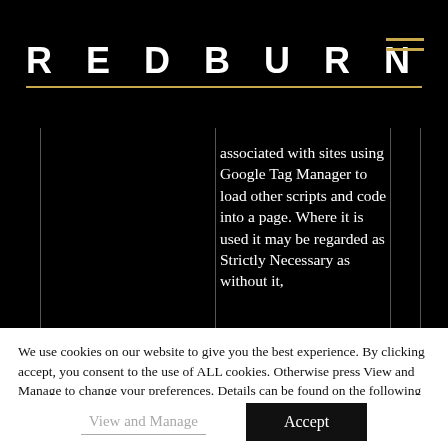REDBURN
associated with sites using Google Tag Manager to load other scripts and code into a page. Where it is used it may be regarded as Strictly Necessary as without it,
We use cookies on our website to give you the best experience. By clicking accept, you consent to the use of ALL cookies. Otherwise press View and Manage to change your preferences. Details can be found on the following links: Cookie Policy and Privacy Policy.
View and Manage
Accept